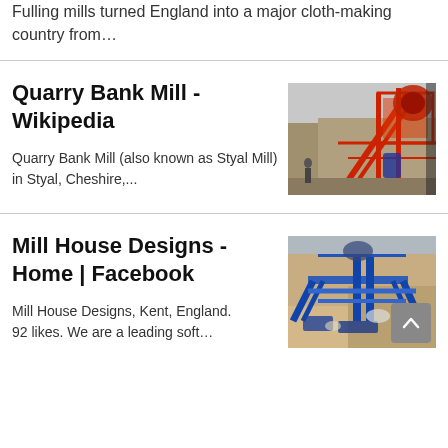Fulling mills turned England into a major cloth-making country from…
Quarry Bank Mill - Wikipedia
Quarry Bank Mill (also known as Styal Mill) in Styal, Cheshire,...
[Figure (photo): Industrial mill machinery with red metal framework and structures]
Mill House Designs - Home | Facebook
Mill House Designs, Kent, England. 92 likes. We are a leading soft…
[Figure (photo): Aerial view of blue industrial mill equipment or machinery on sandy ground]